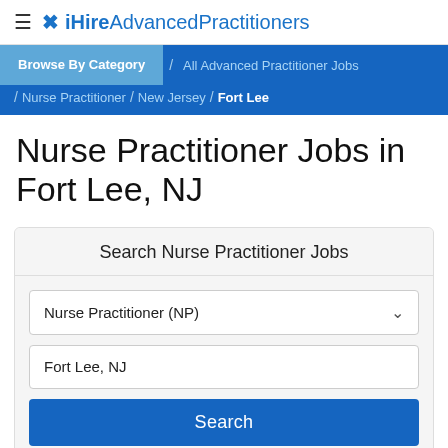≡ ✕ iHireAdvancedPractitioners
Browse By Category / All Advanced Practitioner Jobs / Nurse Practitioner / New Jersey / Fort Lee
Nurse Practitioner Jobs in Fort Lee, NJ
Search Nurse Practitioner Jobs
Nurse Practitioner (NP)
Fort Lee, NJ
Search